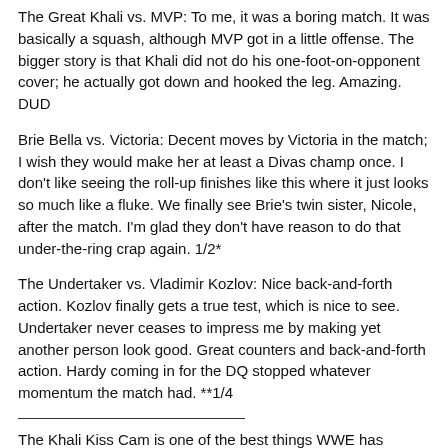The Great Khali vs. MVP: To me, it was a boring match. It was basically a squash, although MVP got in a little offense. The bigger story is that Khali did not do his one-foot-on-opponent cover; he actually got down and hooked the leg. Amazing. DUD
Brie Bella vs. Victoria: Decent moves by Victoria in the match; I wish they would make her at least a Divas champ once. I don't like seeing the roll-up finishes like this where it just looks so much like a fluke. We finally see Brie's twin sister, Nicole, after the match. I'm glad they don't have reason to do that under-the-ring crap again. 1/2*
The Undertaker vs. Vladimir Kozlov: Nice back-and-forth action. Kozlov finally gets a true test, which is nice to see. Undertaker never ceases to impress me by making yet another person look good. Great counters and back-and-forth action. Hardy coming in for the DQ stopped whatever momentum the match had. **1/4
The Khali Kiss Cam is one of the best things WWE has